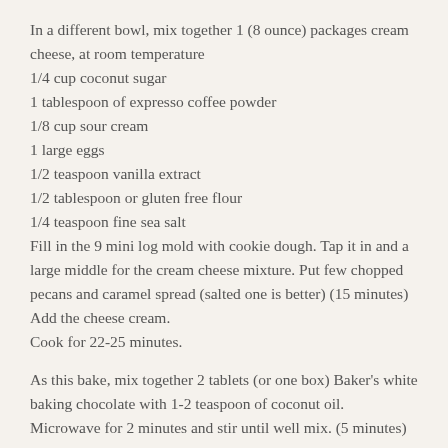In a different bowl, mix together 1 (8 ounce) packages cream cheese, at room temperature
1/4 cup coconut sugar
1 tablespoon of expresso coffee powder
1/8 cup sour cream
1 large eggs
1/2 teaspoon vanilla extract
1/2 tablespoon or gluten free flour
1/4 teaspoon fine sea salt
Fill in the 9 mini log mold with cookie dough. Tap it in and a large middle for the cream cheese mixture. Put few chopped pecans and caramel spread (salted one is better) (15 minutes)
Add the cheese cream.
Cook for 22-25 minutes.
As this bake, mix together 2 tablets (or one box) Baker's white baking chocolate with 1-2 teaspoon of coconut oil. Microwave for 2 minutes and stir until well mix. (5 minutes)